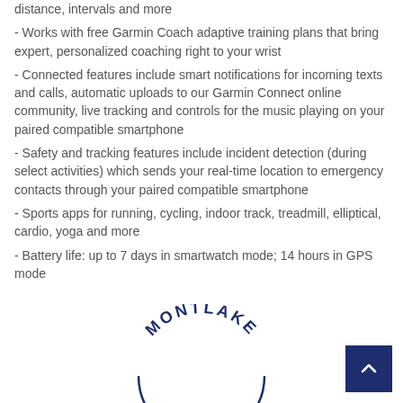distance, intervals and more
- Works with free Garmin Coach adaptive training plans that bring expert, personalized coaching right to your wrist
- Connected features include smart notifications for incoming texts and calls, automatic uploads to our Garmin Connect online community, live tracking and controls for the music playing on your paired compatible smartphone
- Safety and tracking features include incident detection (during select activities) which sends your real-time location to emergency contacts through your paired compatible smartphone
- Sports apps for running, cycling, indoor track, treadmill, elliptical, cardio, yoga and more
- Battery life: up to 7 days in smartwatch mode; 14 hours in GPS mode
[Figure (logo): Montlake logo - circular text reading MONTLAKE in dark navy blue]